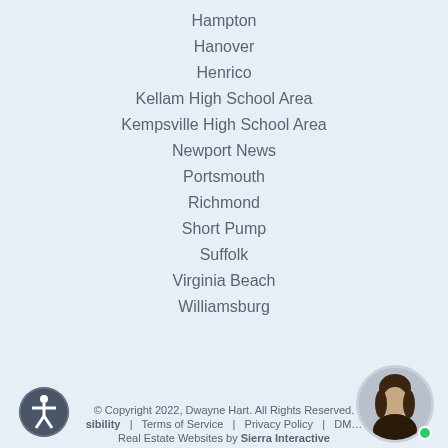Hampton
Hanover
Henrico
Kellam High School Area
Kempsville High School Area
Newport News
Portsmouth
Richmond
Short Pump
Suffolk
Virginia Beach
Williamsburg
© Copyright 2022, Dwayne Hart. All Rights Reserved. | Accessibility | Terms of Service | Privacy Policy | DM... | Real Estate Websites by Sierra Interactive